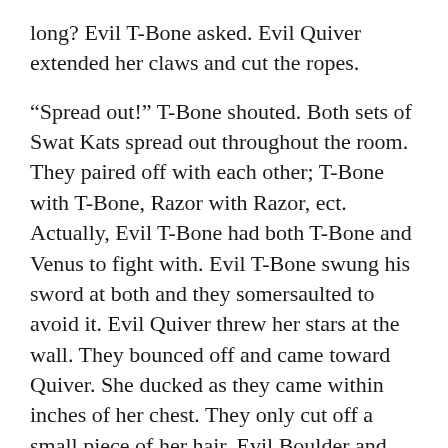long? Evil T-Bone asked. Evil Quiver extended her claws and cut the ropes.
“Spread out!” T-Bone shouted. Both sets of Swat Kats spread out throughout the room. They paired off with each other; T-Bone with T-Bone, Razor with Razor, ect. Actually, Evil T-Bone had both T-Bone and Venus to fight with. Evil T-Bone swung his sword at both and they somersaulted to avoid it. Evil Quiver threw her stars at the wall. They bounced off and came toward Quiver. She ducked as they came within inches of her chest. They only cut off a small piece of her hair. Evil Boulder and Shera fought together to fight Boulder and Shera. They threw their boomerang and daggers at them. They responded by throwing their boomerang and daggers. They both knocked each other out of the air. Evil Razor and Razor were trying to strangle